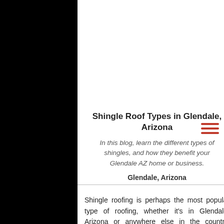Shingle Roof Types in Glendale, Arizona
In this blog, learn the different types of shingles, and how they benefit your Glendale AZ home or business.
Glendale, Arizona
Shingle roofing is perhaps the most popular type of roofing, whether it's in Glendale, Arizona or anywhere else in the country. Shingle roofs are among the